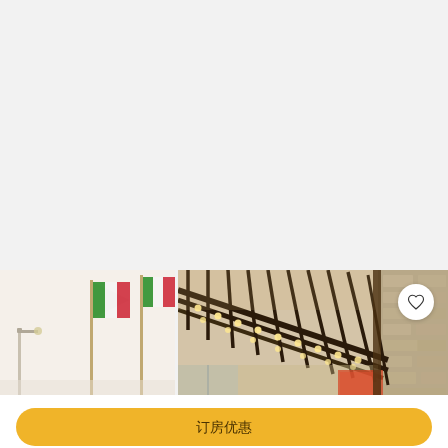[Figure (photo): Hotel exterior photos: left panel shows flags on poles against a bright sky; right panel shows a modern pergola/canopy structure with lights and stone wall facade. A heart/favorite button is overlaid on the right panel.]
Hotels.com ↗
US$103
订房优惠